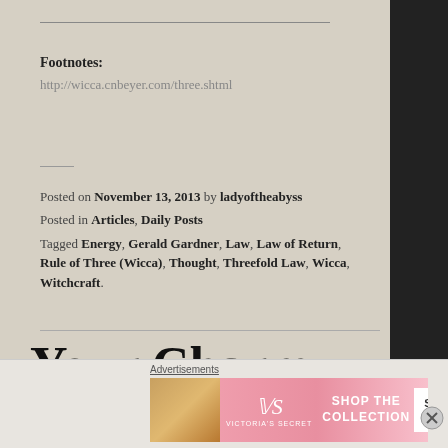Footnotes:
http://wicca.cnbeyer.com/three.shtml
Posted on November 13, 2013 by ladyoftheabyss
Posted in Articles, Daily Posts
Tagged Energy, Gerald Gardner, Law, Law of Return, Rule of Three (Wicca), Thought, Threefold Law, Wicca, Witchcraft.
Your Charm for November 13th is The
[Figure (photo): Victoria's Secret advertisement banner with a model, VS logo, 'SHOP THE COLLECTION' text, and 'SHOP NOW' button]